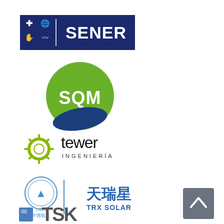[Figure (logo): SENER logo - dark navy blue rectangle with white symbols on left (cross, globe, hand, waves) and white text SENER in bold]
[Figure (logo): SQM logo - green circle with white SQM text and dark blue wave/leaf shape at bottom]
[Figure (logo): tewer ingenieria logo - olive/yellow-green gear/sunburst icon on left, black text 'tewer' with smaller 'INGENIERÍA' below]
[Figure (logo): TRX Solar / 天瑞星 logo - CASC aerospace emblem with Chinese characters 中国航天 and 天瑞星 TRX SOLAR text in blue]
[Figure (logo): TSK logo - partially visible at bottom, blue/grey lettering]
[Figure (other): Dark grey scroll-to-top button with upward chevron arrow, bottom right area]